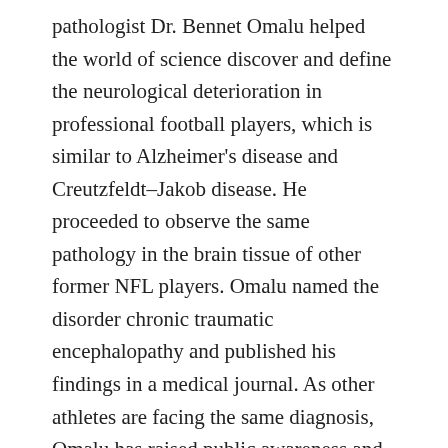pathologist Dr. Bennet Omalu helped the world of science discover and define the neurological deterioration in professional football players, which is similar to Alzheimer's disease and Creutzfeldt–Jakob disease. He proceeded to observe the same pathology in the brain tissue of other former NFL players. Omalu named the disorder chronic traumatic encephalopathy and published his findings in a medical journal. As other athletes are facing the same diagnosis, Omalu has raised public awareness and the understanding of the dangers of head trauma. As Omalu stated, in the case of CTE, the head trauma causes the creation and accumulation of killer proteins in the brain. Once triggered, the